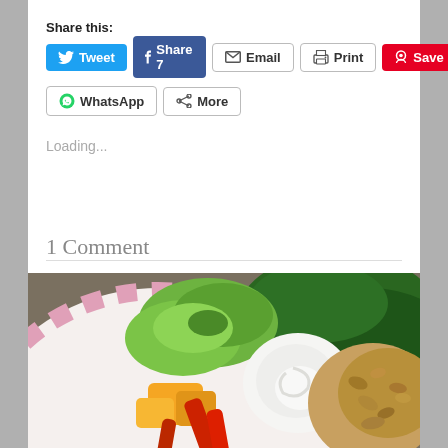Share this:
[Figure (screenshot): Social sharing buttons row 1: Tweet (blue), Share 7 (dark blue), Email (outlined), Print (outlined), Save (red/Pinterest)]
[Figure (screenshot): Social sharing buttons row 2: WhatsApp (outlined), More (outlined)]
Loading...
1 Comment
[Figure (photo): Food photo showing a plate with avocado slices, orange and red bell pepper pieces, sour cream, dark leafy greens, and crumbled ground meat]